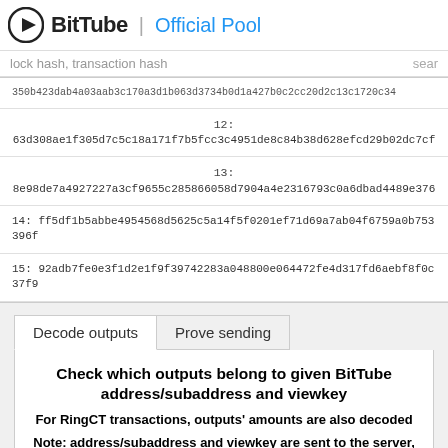BitTube | Official Pool
lock hash, transaction hash  sear
| (partial) 350b423dab4a03aab3c170a3d1b063d3734b0d1a427b0c2cc20d2c13c1720c34 |
| 12:
63d308ae1f305d7c5c18a171f7b5fcc3c4951de8c84b38d628efcd29b02dc7cf |
| 13:
8e98de7a4927227a3cf9655c285866058d7904a4e2316793c0a6dbad4489e376 |
| 14: ff5df1b5abbe4954568d5625c5a14f5f0201ef71d69a7ab04f6759a0b753396f |
| 15: 92adb7fe0e3f1d2e1f9f39742283a048800e064472fe4d317fd6aebf8f0c37f9 |
Decode outputs | Prove sending
Check which outputs belong to given BitTube address/subaddress and viewkey
For RingCT transactions, outputs' amounts are also decoded
Note: address/subaddress and viewkey are sent to the server, as the calculations are done on the server side